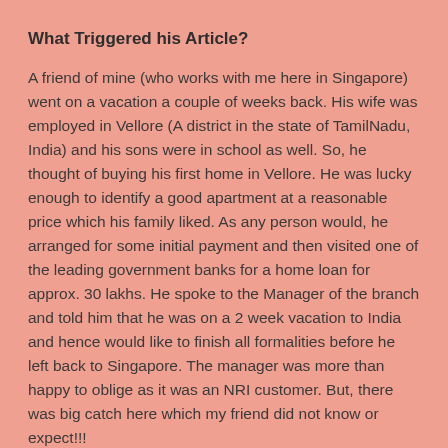What Triggered his Article?
A friend of mine (who works with me here in Singapore) went on a vacation a couple of weeks back. His wife was employed in Vellore (A district in the state of TamilNadu, India) and his sons were in school as well. So, he thought of buying his first home in Vellore. He was lucky enough to identify a good apartment at a reasonable price which his family liked. As any person would, he arranged for some initial payment and then visited one of the leading government banks for a home loan for approx. 30 lakhs. He spoke to the Manager of the branch and told him that he was on a 2 week vacation to India and hence would like to finish all formalities before he left back to Singapore. The manager was more than happy to oblige as it was an NRI customer. But, there was big catch here which my friend did not know or expect!!!
The manager started the formalities and convinced my friend that for his salary it would be a piece of cake to get the loan and promised them the loan within 7 days. A couple of days